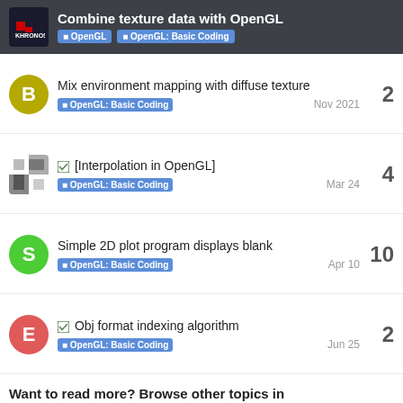Combine texture data with OpenGL | OpenGL | OpenGL: Basic Coding
Mix environment mapping with diffuse texture | OpenGL: Basic Coding | Nov 2021 | 2 replies
[Interpolation in OpenGL] | OpenGL: Basic Coding | Mar 24 | 4 replies
Simple 2D plot program displays blank | OpenGL: Basic Coding | Apr 10 | 10 replies
Obj format indexing algorithm | OpenGL: Basic Coding | Jun 25 | 2 replies
Want to read more? Browse other topics in OpenGL: Basic C... or view latest topics.